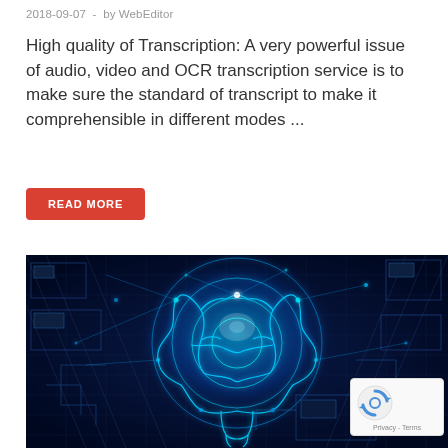2018-09-07 - by WebEditor
High quality of Transcription: A very powerful issue of audio, video and OCR transcription service is to make sure the standard of transcript to make it comprehensible in different modes ...
READ MORE
[Figure (photo): Digital illustration of a glowing blue human brain with circuit board patterns and neural network connections against a dark technological background]